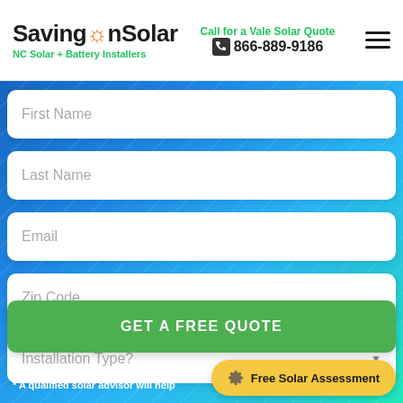SavingOnSolar — NC Solar + Battery Installers
Call for a Vale Solar Quote
866-889-9186
First Name
Last Name
Email
Zip Code
Installation Type?
GET A FREE QUOTE
* A qualified solar advisor will help
Free Solar Assessment